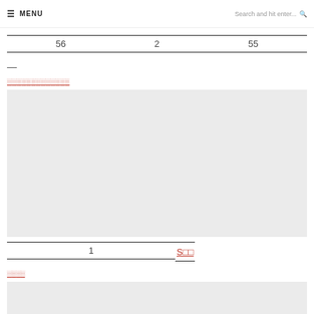MENU | Search and hit enter...
| 56 | 2 | 55 |
—
[redacted link text]
[Figure (photo): Large gray placeholder image box]
| 1 | S□□ |
[redacted link text]
[Figure (photo): Partial gray placeholder image box at bottom]